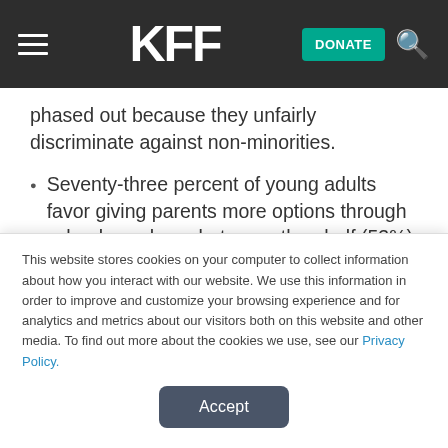KFF | DONATE
phased out because they unfairly discriminate against non-minorities.
Seventy-three percent of young adults favor giving parents more options through school vouchers, but more than half (53%) oppose giving workers the option of putting a portion of their Social Security benefits in the
This website stores cookies on your computer to collect information about how you interact with our website. We use this information in order to improve and customize your browsing experience and for analytics and metrics about our visitors both on this website and other media. To find out more about the cookies we use, see our Privacy Policy.
Accept